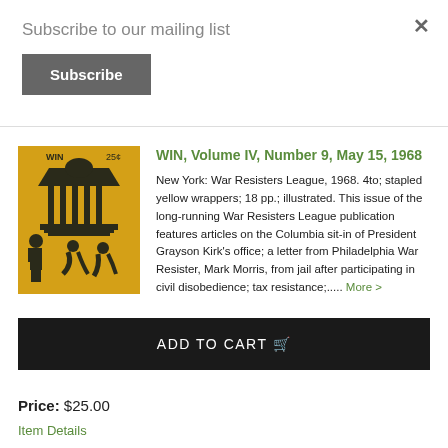Subscribe to our mailing list
Subscribe
WIN, Volume IV, Number 9, May 15, 1968
[Figure (illustration): Book cover illustration on yellow/orange background showing a classical building (Jefferson Memorial or similar), a police officer on the left, and two figures crouching or being arrested in the foreground. Black ink on yellow background.]
New York: War Resisters League, 1968. 4to; stapled yellow wrappers; 18 pp.; illustrated. This issue of the long-running War Resisters League publication features articles on the Columbia sit-in of President Grayson Kirk's office; a letter from Philadelphia War Resister, Mark Morris, from jail after participating in civil disobedience; tax resistance;..... More >
ADD TO CART 🛒
Price: $25.00
Item Details